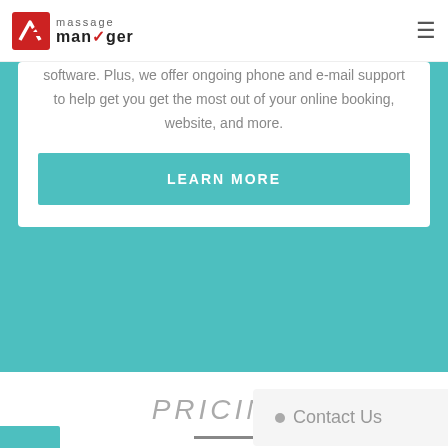[Figure (logo): Massage Manager logo with red checkmark icon and text 'massage manager']
software. Plus, we offer ongoing phone and e-mail support to help get you get the most out of your online booking, website, and more.
LEARN MORE
PRICING